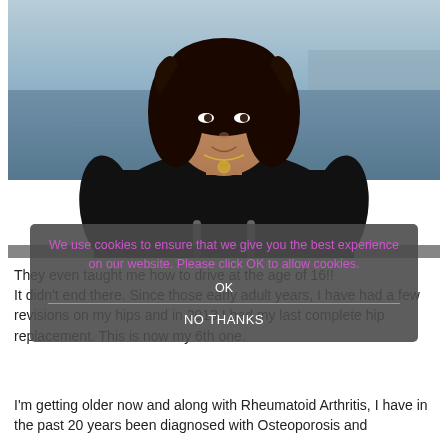[Figure (photo): Woman with curly dark hair wearing a black top and necklace, standing outdoors near water]
They even taught me how to drive at the age of 16!!
It didn't end there. Since those early adult years, I have had a few revisions on my hips and in 2013 I had my last complete hip replacement. This is now my 6th one.
I'm getting older now and along with Rheumatoid Arthritis, I have in the past 20 years been diagnosed with Osteoporosis and